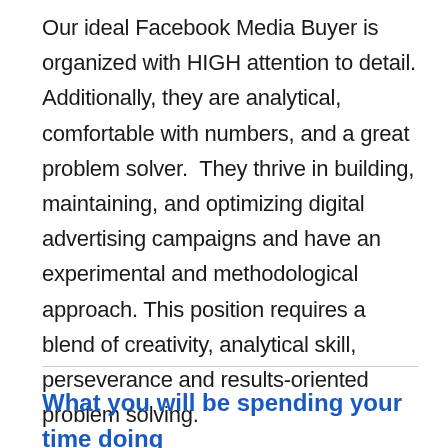Our ideal Facebook Media Buyer is organized with HIGH attention to detail. Additionally, they are analytical, comfortable with numbers, and a great problem solver. They thrive in building, maintaining, and optimizing digital advertising campaigns and have an experimental and methodological approach. This position requires a blend of creativity, analytical skill, perseverance and results-oriented problem solving.
What you will be spending your time doing